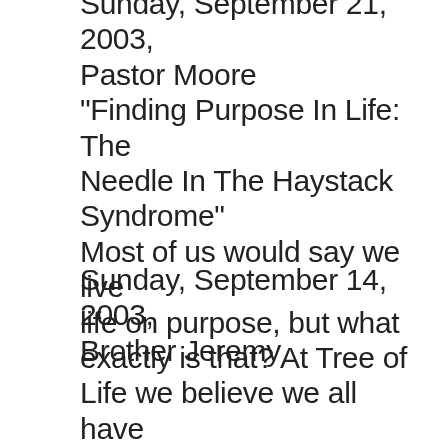Sunday, September 21, 2003, Pastor Moore "Finding Purpose In Life: The Needle In The Haystack Syndrome" Most of us would say we live life on purpose, but what exactly is that? At Tree of Life we believe we all have a purpose, and that a life lived with purpose is one lived happily. Join us on Sept. 21 and see how joyful and purposeful life can be.
Sunday, September 14, 2003, Brother Jeremy